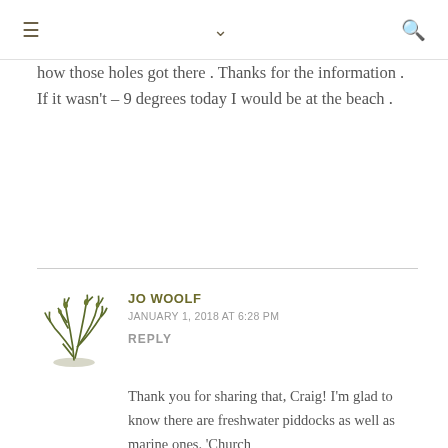≡  ∨  🔍
how those holes got there . Thanks for the information . If it wasn't – 9 degrees today I would be at the beach .
JO WOOLF
JANUARY 1, 2018 AT 6:28 PM
REPLY
Thank you for sharing that, Craig! I'm glad to know there are freshwater piddocks as well as marine ones. 'Church